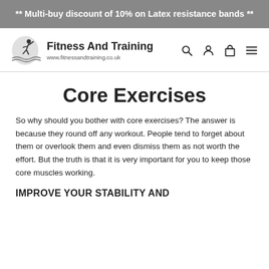** Multi-buy discount of 10% on Latex resistance bands **
[Figure (logo): Fitness And Training logo with a figure and waves, and text 'Fitness And Training' and 'www.fitnessandtraining.co.uk']
Core Exercises
So why should you bother with core exercises? The answer is because they round off any workout. People tend to forget about them or overlook them and even dismiss them as not worth the effort. But the truth is that it is very important for you to keep those core muscles working.
IMPROVE YOUR STABILITY AND